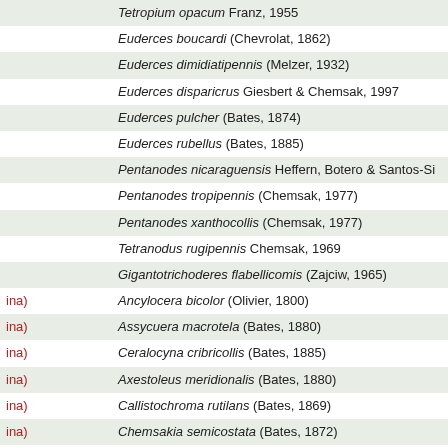| Subfamily/Tribe | Species |
| --- | --- |
|  | Tetropium opacum Franz, 1955 |
|  | Euderces boucardi (Chevrolat, 1862) |
|  | Euderces dimidiatipennis (Melzer, 1932) |
|  | Euderces disparicrus Giesbert & Chemsak, 1997 |
|  | Euderces pulcher (Bates, 1874) |
|  | Euderces rubellus (Bates, 1885) |
|  | Pentanodes nicaraguensis Heffern, Botero & Santos-Si... |
|  | Pentanodes tropipennis (Chemsak, 1977) |
|  | Pentanodes xanthocollis (Chemsak, 1977) |
|  | Tetranodus rugipennis Chemsak, 1969 |
|  | Gigantotrichoderes flabellicomis (Zajciw, 1965) |
| ina) | Ancylocera bicolor (Olivier, 1800) |
| ina) | Assycuera macrotela (Bates, 1880) |
| ina) | Ceralocyna cribricollis (Bates, 1885) |
| ina) | Axestoleus meridionalis (Bates, 1880) |
| ina) | Callistochroma rutilans (Bates, 1869) |
| ina) | Chemsakia semicostata (Bates, 1872) |
| ina) | Crioprosopus saundersii White, 1853 |
| ina) | Dendrobias maxillosus Dupont, 1834 |
| ina) | Dendrobias steinhauseni (Hüdepohl, 1987) |
| ina) | Elytroleptus scabricollis Bates, 1892 |
| ina) | Eriphus prolixus Bates, 1872 |
| ina) | Megaderus stigma (Linné, 1758) |
| ina) | Metaleptus angulatus (Chevrolat, 1835) |
| ina) | Muscidora tricolor Thomson, 1864 |